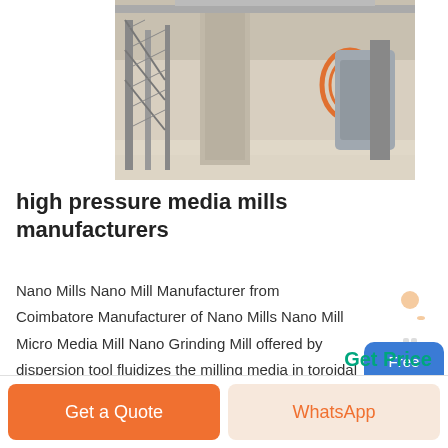[Figure (photo): Industrial factory interior showing milling/grinding equipment with structural steel frames, machinery, and dusty floor]
high pressure media mills manufacturers
Nano Mills Nano Mill Manufacturer from Coimbatore Manufacturer of Nano Mills Nano Mill Micro Media Mill Nano Grinding Mill offered by dispersion tool fluidizes the milling media in toroidal flow pattern to form high The pressure and temperature inside the mill can be continuously monitored.
Get Price
Free
chat
Get a Quote
WhatsApp